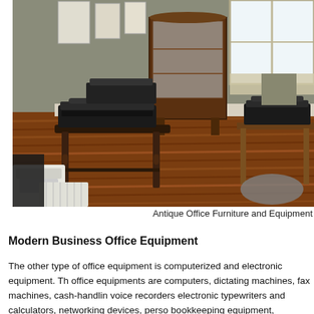[Figure (photo): A room with hardwood floors displaying antique typewriters on dark wooden tables. A wooden curio cabinet stands against the wall. Framed pictures hang on the wall. Another table with typewriters is visible in the background near windows.]
Antique Office Furniture and Equipment
Modern Business Office Equipment
The other type of office equipment is computerized and electronic equipment. The office equipments are computers, dictating machines, fax machines, cash-handling voice recorders electronic typewriters and calculators, networking devices, perso bookkeeping equipment, transcription machines, safety deposit boxes, paper shr